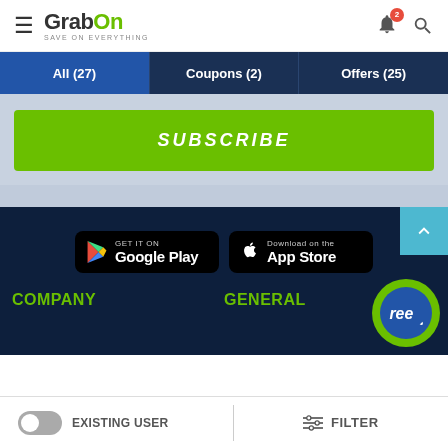GrabOn - SAVE ON EVERYTHING
All (27) | Coupons (2) | Offers (25)
SUBSCRIBE
[Figure (screenshot): Google Play and App Store download buttons on dark navy background]
COMPANY
GENERAL
EXISTING USER  FILTER